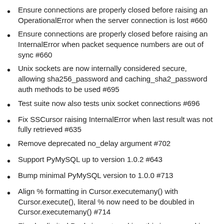Ensure connections are properly closed before raising an OperationalError when the server connection is lost #660
Ensure connections are properly closed before raising an InternalError when packet sequence numbers are out of sync #660
Unix sockets are now internally considered secure, allowing sha256_password and caching_sha2_password auth methods to be used #695
Test suite now also tests unix socket connections #696
Fix SSCursor raising InternalError when last result was not fully retrieved #635
Remove deprecated no_delay argument #702
Support PyMySQL up to version 1.0.2 #643
Bump minimal PyMySQL version to 1.0.0 #713
Align % formatting in Cursor.executemany() with Cursor.execute(), literal % now need to be doubled in Cursor.executemany() #714
Fixed unlimited Pool size not working, this is now working as documented by using queue maxsize of 0 to set to unlimited #118